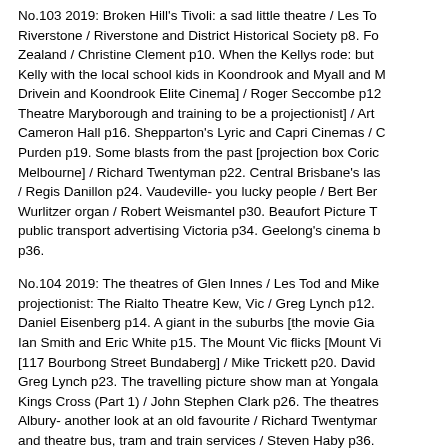No.103 2019: Broken Hill's Tivoli: a sad little theatre / Les To... Riverstone / Riverstone and District Historical Society p8. Fo... Zealand / Christine Clement p10. When the Kellys rode: but... Kelly with the local school kids in Koondrook and Myall and M... Drivein and Koondrook Elite Cinema] / Roger Seccombe p12... Theatre Maryborough and training to be a projectionist] / Art... Cameron Hall p16. Shepparton's Lyric and Capri Cinemas / C... Purden p19. Some blasts from the past [projection box Coric... Melbourne] / Richard Twentyman p22. Central Brisbane's las... / Regis Danillon p24. Vaudeville- you lucky people / Bert Be... Wurlitzer organ / Robert Weismantel p30. Beaufort Picture T... public transport advertising Victoria p34. Geelong's cinema b... p36.
No.104 2019: The theatres of Glen Innes / Les Tod and Mike... projectionist: The Rialto Theatre Kew, Vic / Greg Lynch p12... Daniel Eisenberg p14. A giant in the suburbs [the movie Gia... Ian Smith and Eric White p15. The Mount Vic flicks [Mount V... [117 Bourbong Street Bundaberg] / Mike Trickett p20. David... Greg Lynch p23. The travelling picture show man at Yongala... Kings Cross (Part 1) / John Stephen Clark p26. The theatres... Albury- another look at an old favourite / Richard Twentymar... and theatre bus, tram and train services / Steven Haby p36.
No.105 2020: A life in projection [Record of where author wo... Theatre, The Trocadero, La Scala] / Ross King p5. The Eclip... [obituary] / Eve Chappell p10. My life in cinema [where autho... theatres, including: Waverley Theatre, Regent Theatre, Melb...